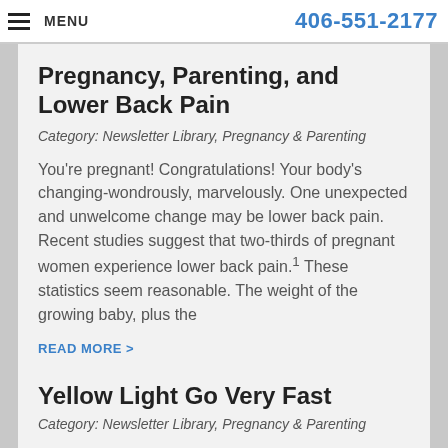MENU  406-551-2177
Pregnancy, Parenting, and Lower Back Pain
Category: Newsletter Library, Pregnancy & Parenting
You're pregnant! Congratulations! Your body's changing-wondrously, marvelously. One unexpected and unwelcome change may be lower back pain. Recent studies suggest that two-thirds of pregnant women experience lower back pain.1 These statistics seem reasonable. The weight of the growing baby, plus the
READ MORE >
Yellow Light Go Very Fast
Category: Newsletter Library, Pregnancy & Parenting